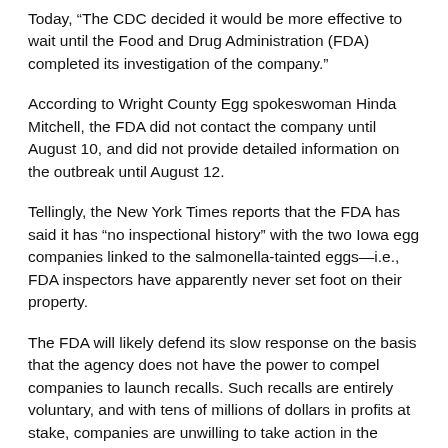Today, “The CDC decided it would be more effective to wait until the Food and Drug Administration (FDA) completed its investigation of the company.”
According to Wright County Egg spokeswoman Hinda Mitchell, the FDA did not contact the company until August 10, and did not provide detailed information on the outbreak until August 12.
Tellingly, the New York Times reports that the FDA has said it has “no inspectional history” with the two Iowa egg companies linked to the salmonella-tainted eggs—i.e., FDA inspectors have apparently never set foot on their property.
The FDA will likely defend its slow response on the basis that the agency does not have the power to compel companies to launch recalls. Such recalls are entirely voluntary, and with tens of millions of dollars in profits at stake, companies are unwilling to take action in the public interest unless overwhelming evidence is brought to bear. While new FDA regulations going into effect in 2012 will presumably require regular testing of egg companies for contamination and cleanliness, they will not include mandatory vaccination of hens.